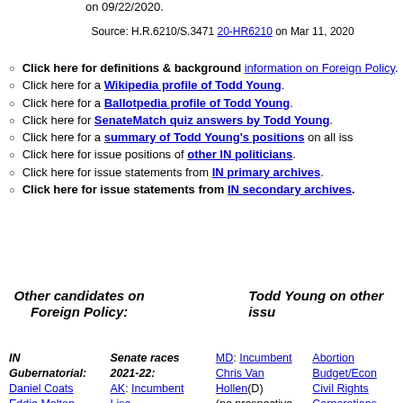on 09/22/2020.
Source: H.R.6210/S.3471 20-HR6210 on Mar 11, 2020
Click here for definitions & background information on Foreign Policy.
Click here for a Wikipedia profile of Todd Young.
Click here for a Ballotpedia profile of Todd Young.
Click here for SenateMatch quiz answers by Todd Young.
Click here for a summary of Todd Young's positions on all iss...
Click here for issue positions of other IN politicians.
Click here for issue statements from IN primary archives.
Click here for issue statements from IN secondary archives.
Other candidates on Foreign Policy:
Todd Young on other issu...
IN Gubernatorial: Daniel Coats, Eddie Melton, Eric Holcomb, Mike Pence, Pete Buttigieg, Woody Myers
IN Senatorial: Andrew Straw, Baron Hill, Brian Bosma, Eric Holcomb, Evan Bayh
Senate races 2021-22:
AK: Incumbent Lisa Murkowski(R) vs.Challenger Kelly Tshibaka(R) vs.2020 candidate Al Gross(D)
AL: Incumbent Richard Shelby(R)
MD: Incumbent Chris Van Hollen(D) (no prospective opponents yet)
MO: Incumbent Roy Blunt(R) vs.Eric Greitens(R) vs.Scott Sifton(D) vs.Eric Schmitt(R) vs.Lucas Kunce(D) vs.Mark McClosky(R)
Abortion
Budget/Econ...
Civil Rights
Corporations
Crime
Drugs
Education
Energy/Oil
Environment
Families
Foreign Polic...
Free Trade
Govt. Reform
Gun Control